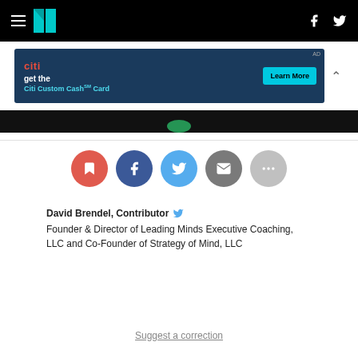[Figure (screenshot): HuffPost navigation bar with hamburger menu, HP logo, Facebook and Twitter icons on black background]
[Figure (infographic): Citi Custom Cash Card advertisement banner with Learn More button]
[Figure (photo): Dark image strip at bottom of article]
[Figure (infographic): Social sharing buttons: bookmark (red), Facebook (dark blue), Twitter (light blue), email (grey), more (light grey)]
David Brendel, Contributor
Founder & Director of Leading Minds Executive Coaching, LLC and Co-Founder of Strategy of Mind, LLC
Suggest a correction